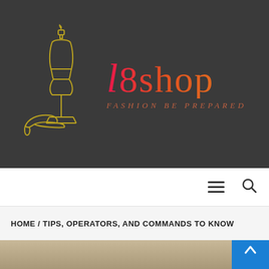[Figure (logo): l8shop fashion brand logo with mannequin and high heel shoe illustration in olive/yellow outline on dark gray background, with brand name 'l8shop' in gradient red-to-orange and tagline 'FASHION BE PREPARED' in italic orange-red text]
Navigation bar with hamburger menu icon and search icon
HOME / TIPS, OPERATORS, AND COMMANDS TO KNOW
[Figure (photo): Partial view of a person's head/hair, slightly blurred, at the bottom of the page]